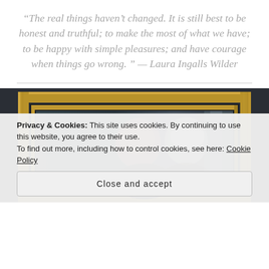“The real things haven’t changed. It is still best to be honest and truthful; to make the most of what we have; to be happy with simple pleasures; and have courage when things go wrong. ” — Laura Ingalls Wilder
[Figure (photo): A painting in a gold ornate frame, partially visible, showing figures with red and white headwear against a dark background.]
Privacy & Cookies: This site uses cookies. By continuing to use this website, you agree to their use.
To find out more, including how to control cookies, see here: Cookie Policy
Close and accept